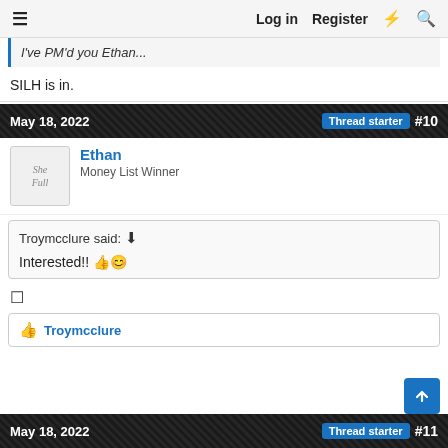≡   Log in   Register   ⚡   🔍
I've PM'd you Ethan...
SILH is in.
May 18, 2022   Thread starter   #10
Ethan
Money List Winner
Troymcclure said: ⬆
Interested!! 👍🙂
🔲
👍 Troymcclure
May 18, 2022   Thread starter   #11